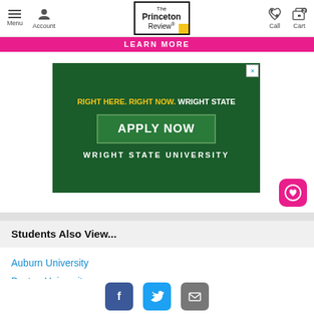Menu | Account | The Princeton Review | Call | Cart
[Figure (screenshot): Pink 'Learn More' button bar]
[Figure (infographic): Wright State University advertisement: 'RIGHT HERE. RIGHT NOW. WRIGHT STATE' with 'APPLY NOW' button on dark green background, followed by 'WRIGHT STATE UNIVERSITY' text]
[Figure (other): Pink heart/save button]
Students Also View...
Auburn University
Boston University
Clemson University
Facebook | Twitter | Email share icons